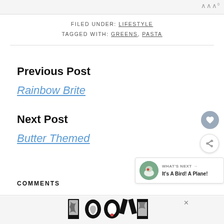FILED UNDER: LIFESTYLE
TAGGED WITH: GREENS, PASTA
Previous Post
Rainbow Brite
Next Post
Butter Themed
COMMENTS
[Figure (logo): LOOVE decorative logo in black and white illustrated style with a red heart accent]